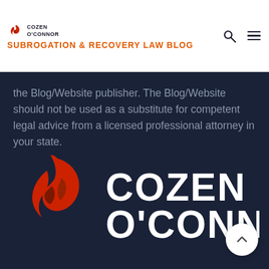Cozen O'Connor — Subrogation & Recovery Law Blog
the Blog/Website publisher. The Blog/Website should not be used as a substitute for competent legal advice from a licensed professional attorney in your state.
[Figure (logo): Cozen O'Connor logo — large white text 'COZEN O'CONNOR' with red and dark red flame/swoosh icon on dark navy background]